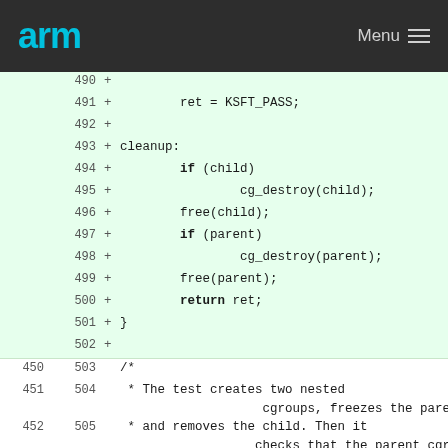arm  Menu
[Figure (screenshot): Code diff view showing lines 490-502 (added, green background) with C code: ret = KSFT_PASS; cleanup: if (child) cg_destroy(child); free(child); if (parent) cg_destroy(parent); free(parent); return ret; } followed by context lines 450-452/503-505 showing a C comment about nested cgroups and a hunk header.]